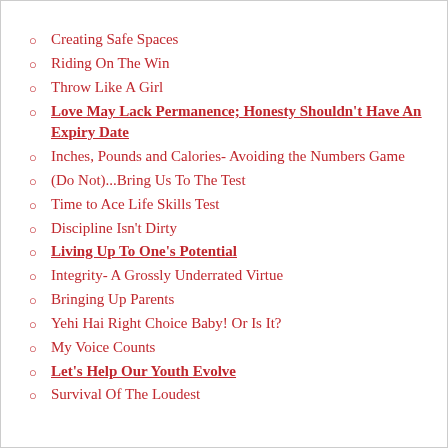Creating Safe Spaces
Riding On The Win
Throw Like A Girl
Love May Lack Permanence; Honesty Shouldn't Have An Expiry Date
Inches, Pounds and Calories- Avoiding the Numbers Game
(Do Not)...Bring Us To The Test
Time to Ace Life Skills Test
Discipline Isn't Dirty
Living Up To One's Potential
Integrity- A Grossly Underrated Virtue
Bringing Up Parents
Yehi Hai Right Choice Baby! Or Is It?
My Voice Counts
Let's Help Our Youth Evolve
Survival Of The Loudest